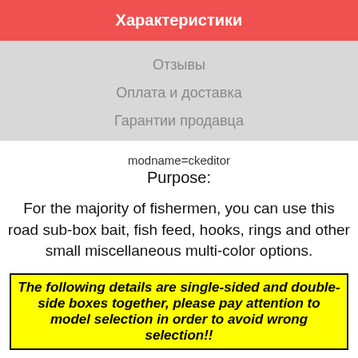Характеристики
Отзывы
Оплата и доставка
Гарантии продавца
modname=ckeditor
Purpose:
For the majority of fishermen, you can use this road sub-box bait, fish feed, hooks, rings and other small miscellaneous multi-color options.
The following details are single-sided and double-side boxes together, please pay attention to model selection in order to avoid wrong selection!!